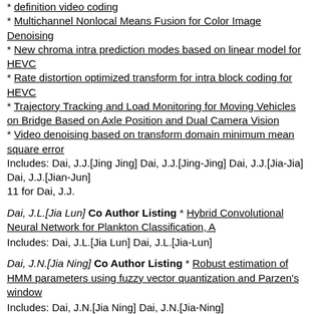* definition video coding
* Multichannel Nonlocal Means Fusion for Color Image Denoising
* New chroma intra prediction modes based on linear model for HEVC
* Rate distortion optimized transform for intra block coding for HEVC
* Trajectory Tracking and Load Monitoring for Moving Vehicles on Bridge Based on Axle Position and Dual Camera Vision
* Video denoising based on transform domain minimum mean square error
Includes: Dai, J.J.[Jing Jing] Dai, J.J.[Jing-Jing] Dai, J.J.[Jia-Jia] Dai, J.J.[Jian-Jun]
11 for Dai, J.J.
Dai, J.L.[Jia Lun] Co Author Listing * Hybrid Convolutional Neural Network for Plankton Classification, A
Includes: Dai, J.L.[Jia Lun] Dai, J.L.[Jia-Lun]
Dai, J.N.[Jia Ning] Co Author Listing * Robust estimation of HMM parameters using fuzzy vector quantization and Parzen's window
Includes: Dai, J.N.[Jia Ning] Dai, J.N.[Jia-Ning]